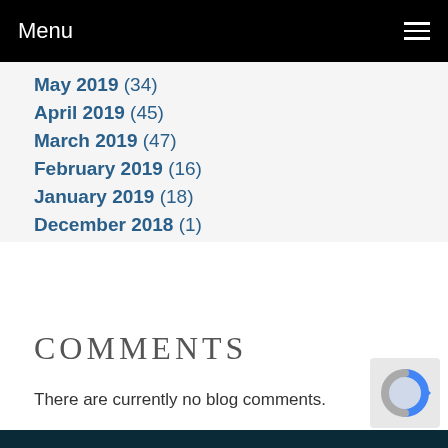Menu
May 2019 (34)
April 2019 (45)
March 2019 (47)
February 2019 (16)
January 2019 (18)
December 2018 (1)
COMMENTS
There are currently no blog comments.